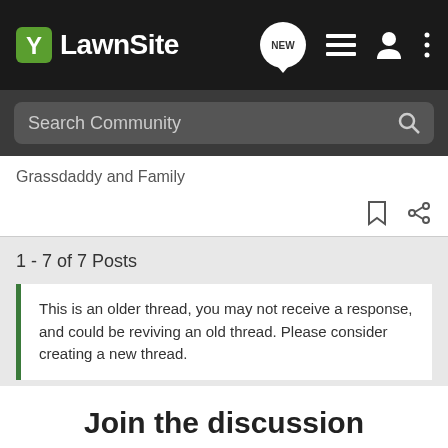LawnSite
Search Community
Grassdaddy and Family
1 - 7 of 7 Posts
This is an older thread, you may not receive a response, and could be reviving an old thread. Please consider creating a new thread.
Join the discussion
Continue with Facebook